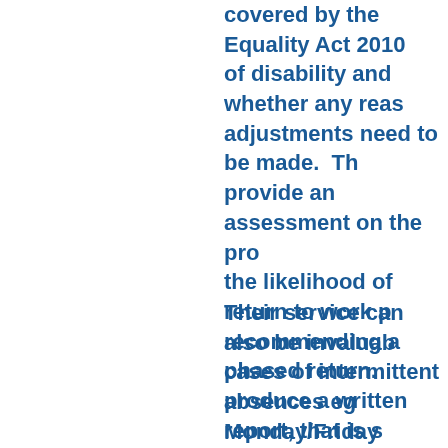covered by the Equality Act 2010 of disability and whether any reasonable adjustments need to be made. The provide an assessment on the prognosis, the likelihood of return to work perhaps recommending a phased return. They produce a written report, that is shared with the employee, which will provide the basis of a next meeting with the employee with a view to getting them back to work.
Their service can also be invaluable in cases of intermittent absences eg Monday/Friday syndrome. They can decide whether an employee is "swinging the lead" or may have a genuine underlying problem.